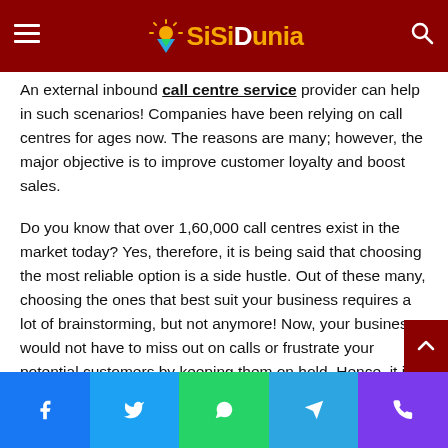SiSiDunia
An external inbound call centre service provider can help in such scenarios! Companies have been relying on call centres for ages now. The reasons are many; however, the major objective is to improve customer loyalty and boost sales.
Do you know that over 1,60,000 call centres exist in the market today? Yes, therefore, it is being said that choosing the most reliable option is a side hustle. Out of these many, choosing the ones that best suit your business requires a lot of brainstorming, but not anymore! Now, your business would not have to miss out on calls or frustrate your potential customers by keeping them on hold. Hence, it is a win-win situation for you.
Facebook Twitter WhatsApp Telegram Phone